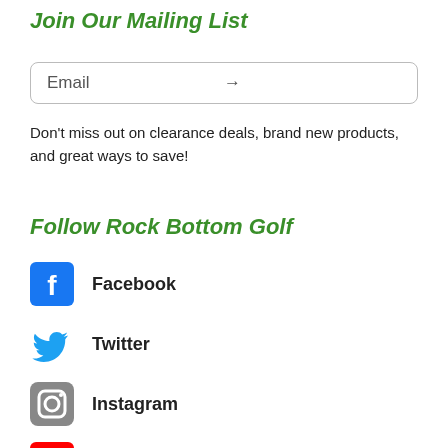Join Our Mailing List
[Figure (other): Email input field with arrow/submit button]
Don't miss out on clearance deals, brand new products, and great ways to save!
Follow Rock Bottom Golf
Facebook
Twitter
Instagram
Youtube